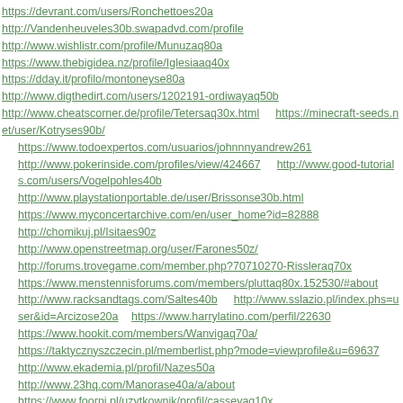https://devrant.com/users/Ronchettoes20a
http://Vandenheuveles30b.swapadvd.com/profile
http://www.wishlistr.com/profile/Munuzaq80a
https://www.thebigidea.nz/profile/Iglesiaaq40x
https://dday.it/profilo/montoneyse80a
http://www.digthedirt.com/users/1202191-ordiwayaq50b
http://www.cheatscorner.de/profile/Tetersaq30x.html   https://minecraft-seeds.net/user/Kotryses90b/
https://www.todoexpertos.com/usuarios/johnnnyandrew261
http://www.pokerinside.com/profiles/view/424667   http://www.good-tutorials.com/users/Vogelpohles40b
http://www.playstationportable.de/user/Brissonse30b.html
https://www.myconcertarchive.com/en/user_home?id=82888
http://chomikuj.pl/Isitaes90z
http://www.openstreetmap.org/user/Farones50z/
http://forums.trovegame.com/member.php?70710270-Rissleraq70x
https://www.menstennisforums.com/members/pluttaq80x.152530/#about
http://www.racksandtags.com/Saltes40b   http://www.sslazio.pl/index.php?s=user&id=Arcizose20a   https://www.harrylatino.com/perfil/22630
https://www.hookit.com/members/Wanvigaq70a/
https://taktycznyszczecin.pl/memberlist.php?mode=viewprofile&u=69637
http://www.ekademia.pl/profil/Nazes50a
http://www.23hq.com/Manorase40a/a/about
https://www.foorni.pl/uzytkownik/profil/casseyaq10x
https://splice.com/Shutteres70b   http://www.sslazio.pl/index.php?s=user&id=Mottenes20b   https://www.universe.com/users/ainsha-obama-NCK6LW   https://www.logobids.com/users/Sarensenes70x
https://vjudge.net/user/i/526453   http://artikelpost.nl/profile/Cumminges137070.html   https://www.kookjij.nl/users/andnrzejobama
https://interfacelift.com/user/181689/   http://www.lexus-